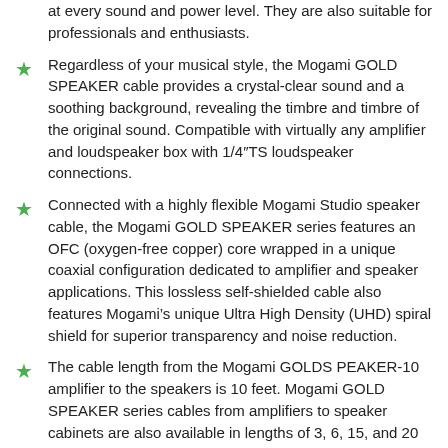at every sound and power level. They are also suitable for professionals and enthusiasts.
Regardless of your musical style, the Mogami GOLD SPEAKER cable provides a crystal-clear sound and a soothing background, revealing the timbre and timbre of the original sound. Compatible with virtually any amplifier and loudspeaker box with 1/4"TS loudspeaker connections.
Connected with a highly flexible Mogami Studio speaker cable, the Mogami GOLD SPEAKER series features an OFC (oxygen-free copper) core wrapped in a unique coaxial configuration dedicated to amplifier and speaker applications. This lossless self-shielded cable also features Mogami’s unique Ultra High Density (UHD) spiral shield for superior transparency and noise reduction.
The cable length from the Mogami GOLDS PEAKER-10 amplifier to the speakers is 10 feet. Mogami GOLD SPEAKER series cables from amplifiers to speaker cabinets are also available in lengths of 3, 6, 15, and 20 feet.